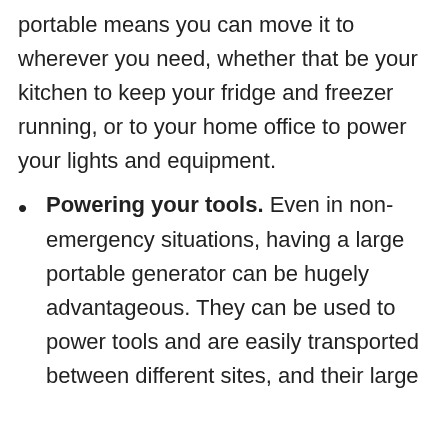portable means you can move it to wherever you need, whether that be your kitchen to keep your fridge and freezer running, or to your home office to power your lights and equipment.
Powering your tools. Even in non-emergency situations, having a large portable generator can be hugely advantageous. They can be used to power tools and are easily transported between different sites, and their large